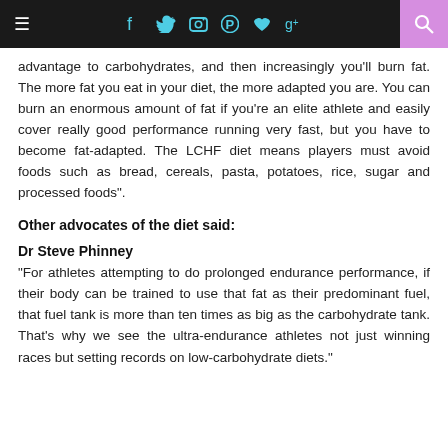≡  f  t  [camera]  [pinterest]  [heart]  g+  [search]
advantage to carbohydrates, and then increasingly you'll burn fat. The more fat you eat in your diet, the more adapted you are. You can burn an enormous amount of fat if you're an elite athlete and easily cover really good performance running very fast, but you have to become fat-adapted. The LCHF diet means players must avoid foods such as bread, cereals, pasta, potatoes, rice, sugar and processed foods".
Other advocates of the diet said:
Dr Steve Phinney
"For athletes attempting to do prolonged endurance performance, if their body can be trained to use that fat as their predominant fuel, that fuel tank is more than ten times as big as the carbohydrate tank. That's why we see the ultra-endurance athletes not just winning races but setting records on low-carbohydrate diets."